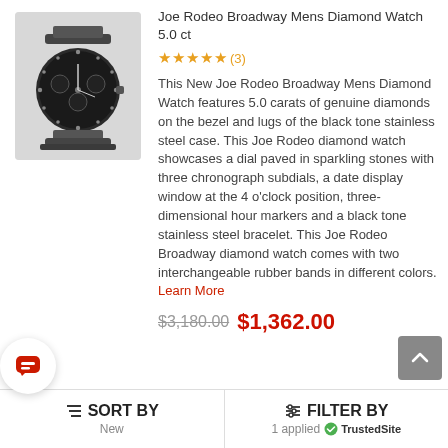[Figure (photo): Black stainless steel Joe Rodeo Broadway diamond watch with chronograph subdials on dark bracelet]
Joe Rodeo Broadway Mens Diamond Watch 5.0 ct
★★★★★(3)
This New Joe Rodeo Broadway Mens Diamond Watch features 5.0 carats of genuine diamonds on the bezel and lugs of the black tone stainless steel case. This Joe Rodeo diamond watch showcases a dial paved in sparkling stones with three chronograph subdials, a date display window at the 4 o'clock position, three-dimensional hour markers and a black tone stainless steel bracelet. This Joe Rodeo Broadway diamond watch comes with two interchangeable rubber bands in different colors. Learn More
$3,180.00  $1,362.00
SORT BY New | FILTER BY 1 applied | TrustedSite